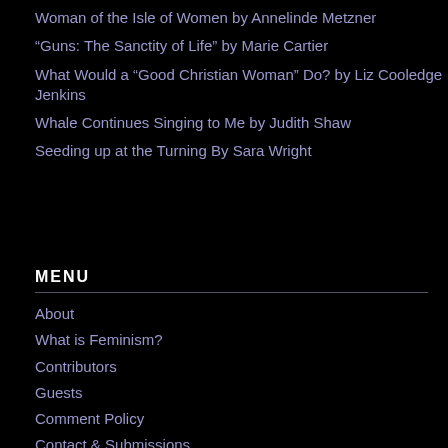Woman of the Isle of Women by Annelinde Metzner
“Guns: The Sanctity of Life” by Marie Cartier
What Would a “Good Christian Woman” Do? by Liz Cooledge Jenkins
Whale Continues Singing to Me by Judith Shaw
Seeding up at the Turning By Sara Wright
MENU
About
What is Feminism?
Contributors
Guests
Comment Policy
Contact & Submissions